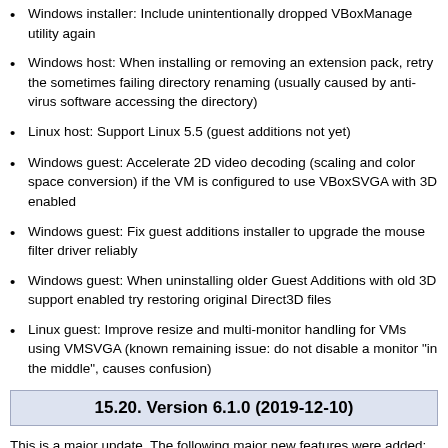Windows installer: Include unintentionally dropped VBoxManage utility again
Windows host: When installing or removing an extension pack, retry the sometimes failing directory renaming (usually caused by anti-virus software accessing the directory)
Linux host: Support Linux 5.5 (guest additions not yet)
Windows guest: Accelerate 2D video decoding (scaling and color space conversion) if the VM is configured to use VBoxSVGA with 3D enabled
Windows guest: Fix guest additions installer to upgrade the mouse filter driver reliably
Windows guest: When uninstalling older Guest Additions with old 3D support enabled try restoring original Direct3D files
Linux guest: Improve resize and multi-monitor handling for VMs using VMSVGA (known remaining issue: do not disable a monitor "in the middle", causes confusion)
15.20. Version 6.1.0 (2019-12-10)
This is a major update. The following major new features were added:
Implemented support for importing a virtual machine from Oracle Cloud Infrastructure
Extended support for exporting a virtual machine to Oracle Cloud